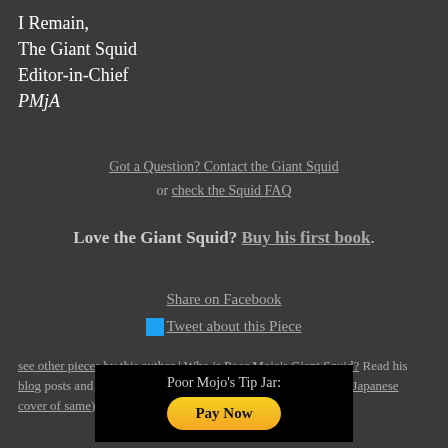I Remain,
The Giant Squid
Editor-in-Chief
PMjA
Got a Question? Contact the Giant Squid or check the Squid FAQ
Love the Giant Squid? Buy his first book.
Share on Facebook
Tweet about this Piece
see other pieces by this author | Who is Poor Mojo's Giant Squid? Read his blog posts and enjoy his anthem (and the post-ironic mid-1990s Japanese cover of same)
[Figure (other): Poor Mojo's Tip Jar section with Pay Now PayPal button on black background]